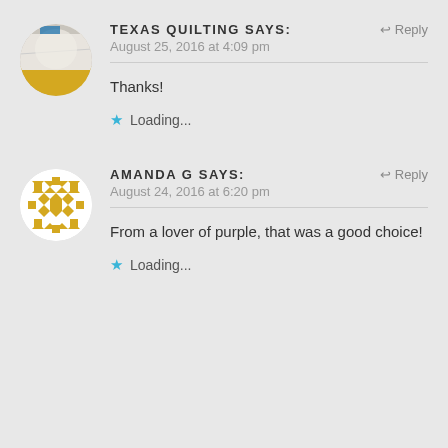[Figure (photo): Circular avatar of Texas Quilting showing a quilt pattern with blue and yellow fabric]
TEXAS QUILTING says:
↩ Reply
August 25, 2016 at 4:09 pm
Thanks!
★ Loading...
[Figure (illustration): Circular avatar with gold/yellow geometric quilt-pattern design on white background]
AMANDA G says:
↩ Reply
August 24, 2016 at 6:20 pm
From a lover of purple, that was a good choice!
★ Loading...